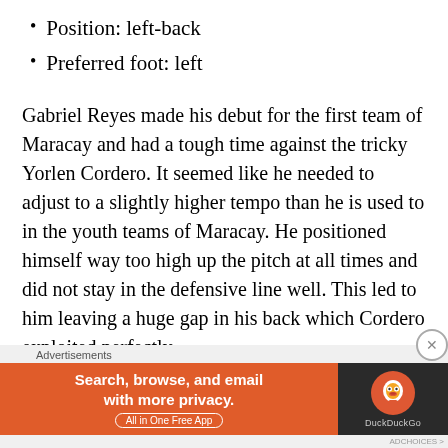Position: left-back
Preferred foot: left
Gabriel Reyes made his debut for the first team of Maracay and had a tough time against the tricky Yorlen Cordero. It seemed like he needed to adjust to a slightly higher tempo than he is used to in the youth teams of Maracay. He positioned himself way too high up the pitch at all times and did not stay in the defensive line well. This led to him leaving a huge gap in his back which Cordero exploited perfectly.
He was very good in the aerial duels, but lost almost every 1-on-1 duel against Cordero. Reyes had the wrong stance
[Figure (infographic): DuckDuckGo advertisement banner: orange background on left with text 'Search, browse, and email with more privacy.' and 'All in One Free App', dark background on right with DuckDuckGo duck logo and 'DuckDuckGo' text label. 'Advertisements' label above the banner.]